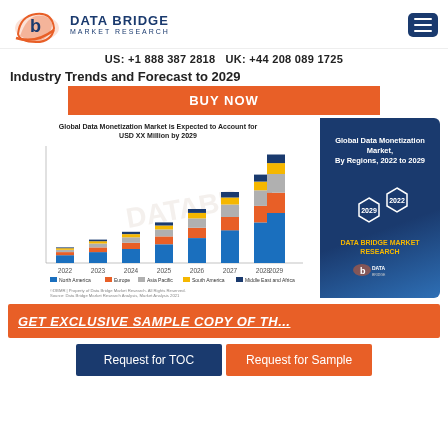[Figure (logo): Data Bridge Market Research logo with orange/blue circular icon and brand name text]
US: +1 888 387 2818 UK: +44 208 089 1725
Industry Trends and Forecast to 2029
[Figure (screenshot): BUY NOW orange overlay button]
[Figure (stacked-bar-chart): Global Data Monetization Market is Expected to Account for USD XX Million by 2029]
[Figure (infographic): Global Data Monetization Market By Regions 2022 to 2029 with hexagonal 2022/2029 design and Data Bridge Market Research branding on dark blue background]
GET EXCLUSIVE SAMPLE COPY OF THE REPORT HERE
Request for TOC
Request for Sample